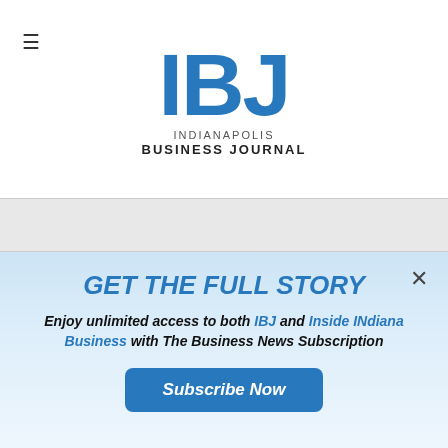[Figure (logo): IBJ Indianapolis Business Journal logo with hamburger menu icon]
GET THE FULL STORY
Enjoy unlimited access to both IBJ and Inside INdiana Business with The Business News Subscription
Subscribe Now
Already a paid subscriber?
Log In